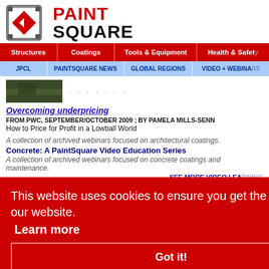[Figure (logo): PaintSquare logo with red diamond icon and PAINT SQUARE text in red and black]
Structures | Coatings | Tools & Equipment | Health & Safety
JPCL | PAINTSQUARE NEWS | GLOBAL REGIONS | VIDEO + WEBINARS
[Figure (photo): Small thumbnail photo, dark/green tones, article image]
Overcoming underpricing
FROM PWC, SEPTEMBER/OCTOBER 2009 ; BY PAMELA MILLS-SENN
How to Price for Profit in a Lowball World
This website uses cookies to ensure you get the best experience on our website.
Learn more
Got it!
Architectural Coatings: A PaintSquare Video Education Series
A collection of archived webinars focused on architectural coatings.
Concrete: A PaintSquare Video Education Series
A collection of archived webinars focused on concrete coatings and maintenance.
SEE MORE VIDEO LEARNING
Tweet
Like